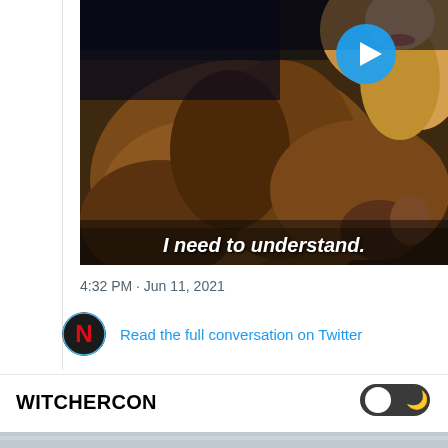[Figure (screenshot): Video thumbnail from The Witcher showing a woman in fur clothing with subtitle text 'I need to understand.' and a play button overlay]
4:32 PM · Jun 11, 2021
Read the full conversation on Twitter
WITCHERCON
[Figure (other): Dark mode toggle switch showing moon icon]
[Figure (photo): Bottom strip of another image beginning to appear]